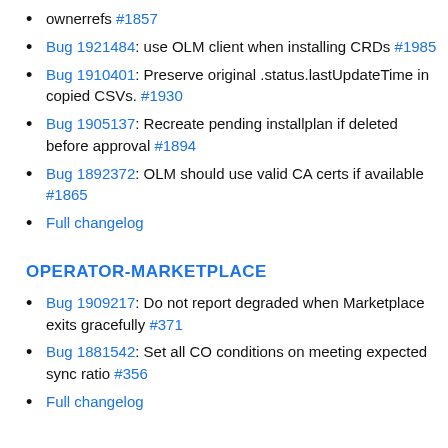ownerrefs #1857
Bug 1921484: use OLM client when installing CRDs #1985
Bug 1910401: Preserve original .status.lastUpdateTime in copied CSVs. #1930
Bug 1905137: Recreate pending installplan if deleted before approval #1894
Bug 1892372: OLM should use valid CA certs if available #1865
Full changelog
OPERATOR-MARKETPLACE
Bug 1909217: Do not report degraded when Marketplace exits gracefully #371
Bug 1881542: Set all CO conditions on meeting expected sync ratio #356
Full changelog